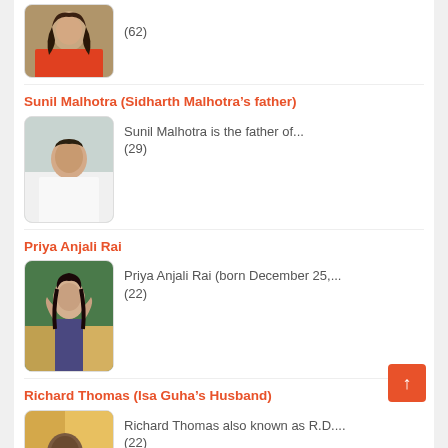[Figure (photo): Photo of a woman in colorful clothing]
(62)
Sunil Malhotra (Sidharth Malhotra’s father)
[Figure (photo): Photo of Sunil Malhotra]
Sunil Malhotra is the father of...
(29)
Priya Anjali Rai
[Figure (photo): Photo of Priya Anjali Rai]
Priya Anjali Rai (born December 25,...
(22)
Richard Thomas (Isa Guha’s Husband)
[Figure (photo): Photo of Richard Thomas]
Richard Thomas also known as R.D....
(22)
Harshad Malhotra (Sidharth Malhotra’s brother)
[Figure (photo): Photo of Harshad Malhotra]
Harshad Malhotra is the older brother